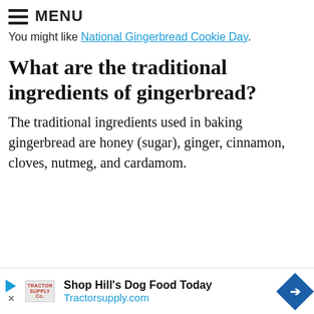MENU
You might like National Gingerbread Cookie Day.
What are the traditional ingredients of gingerbread?
The traditional ingredients used in baking gingerbread are honey (sugar), ginger, cinnamon, cloves, nutmeg, and cardamom.
[Figure (other): Advertisement banner: Shop Hill's Dog Food Today, Tractorsupply.com, with Tractor Supply Co logo and blue diamond arrow icon]